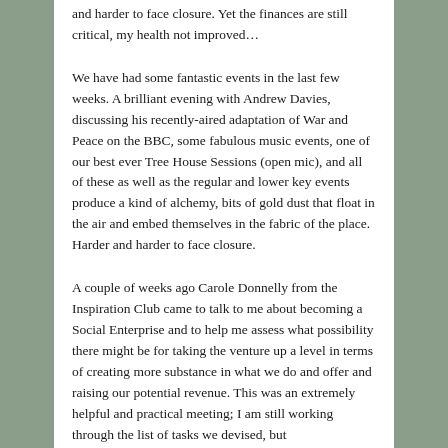and harder to face closure.  Yet the finances are still critical, my health not improved...
We have had some fantastic events in the last few weeks.  A brilliant evening with Andrew Davies, discussing his recently-aired adaptation of War and Peace on the BBC, some fabulous music events, one of our best ever Tree House Sessions (open mic), and all of these as well as the regular and lower key events produce a kind of alchemy, bits of gold dust that float in the air and embed themselves in the fabric of the place.  Harder and harder to face closure.
A couple of weeks ago Carole Donnelly from the Inspiration Club came to talk to me about becoming a Social Enterprise and to help me assess what possibility there might be for taking the venture up a level in terms of creating more substance in what we do and offer and raising our potential revenue.  This was an extremely helpful and practical meeting; I am still working through the list of tasks we devised, but